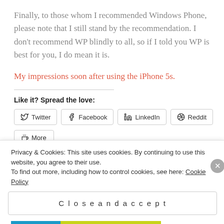Finally, to those whom I recommended Windows Phone, please note that I still stand by the recommendation. I don't recommend WP blindly to all, so if I told you WP is best for you, I do mean it is.
My impressions soon after using the iPhone 5s.
Like it? Spread the love:
Twitter  Facebook  LinkedIn  Reddit  More
Privacy & Cookies: This site uses cookies. By continuing to use this website, you agree to their use.
To find out more, including how to control cookies, see here: Cookie Policy
Close and accept